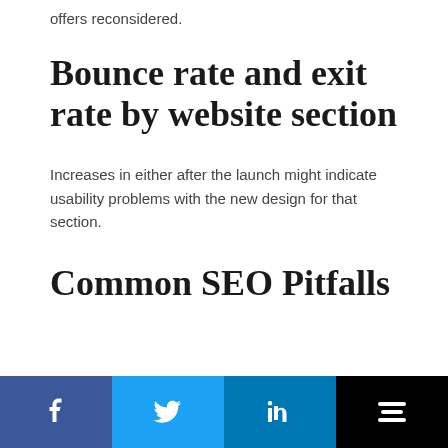offers reconsidered.
Bounce rate and exit rate by website section
Increases in either after the launch might indicate usability problems with the new design for that section.
Common SEO Pitfalls
[Figure (other): Social sharing bar with four buttons: Facebook (dark blue), Twitter (light blue), LinkedIn (medium blue), Buffer/layers icon (black)]